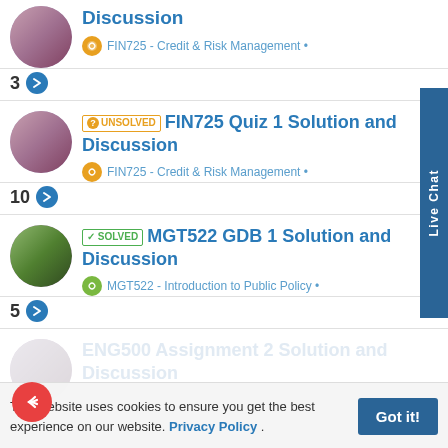Discussion - FIN725 - Credit & Risk Management • (reply count: 3)
UNSOLVED FIN725 Quiz 1 Solution and Discussion - FIN725 - Credit & Risk Management • (reply count: 10)
SOLVED MGT522 GDB 1 Solution and Discussion - MGT522 - Introduction to Public Policy • (reply count: 5)
ENG500 Assignment 2 Solution and Discussion (partially visible, faded)
This website uses cookies to ensure you get the best experience on our website. Privacy Policy